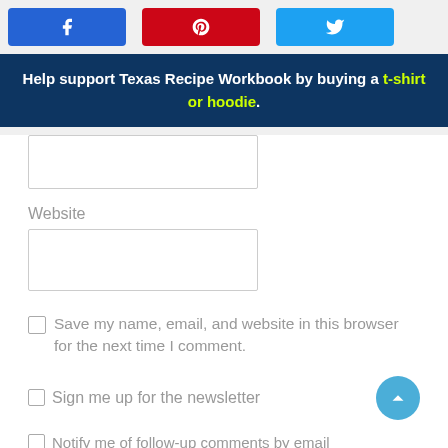[Figure (infographic): Three social sharing buttons: Facebook (blue), Pinterest (red), Twitter (light blue)]
Help support Texas Recipe Workbook by buying a t-shirt or hoodie.
Website
Save my name, email, and website in this browser for the next time I comment.
Sign me up for the newsletter
Notify me of follow-up comments by email